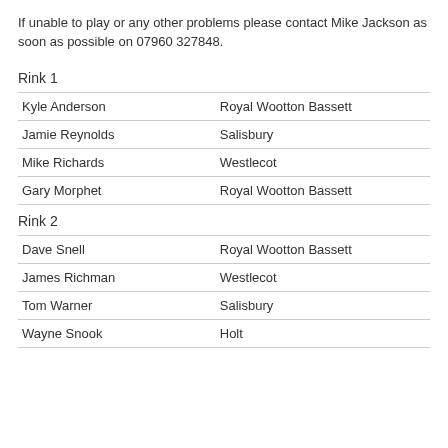If unable to play or any other problems please contact Mike Jackson as soon as possible on 07960 327848.
Rink 1
| Name | Club |
| --- | --- |
| Kyle Anderson | Royal Wootton Bassett |
| Jamie Reynolds | Salisbury |
| Mike Richards | Westlecot |
| Gary Morphet | Royal Wootton Bassett |
Rink 2
| Name | Club |
| --- | --- |
| Dave Snell | Royal Wootton Bassett |
| James Richman | Westlecot |
| Tom Warner | Salisbury |
| Wayne Snook | Holt |